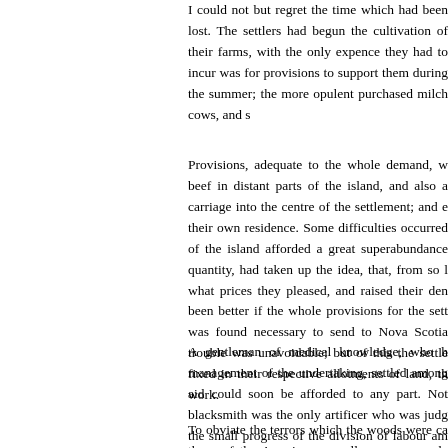I could not but regret the time which had been lost. The settlers had begun the cultivation of their farms, with the only expence they had to incur was for provisions to support them during the summer; the more opulent purchased milch cows, and s…
Provisions, adequate to the whole demand, were found, by purchasing beef in distant parts of the island, and also a quantity requiring carriage into the centre of the settlement; and even some besides their own residence. Some difficulties occurred, because the interior of the island afforded a great superabundance cattle: the proprietors, in quantity, had taken up the idea, that, from so large a demand, they might ask what prices they pleased, and raised their demands accordingly. It would have been better if the whole provisions for the settlement had been imported; it was found necessary to send to Nova Scotia for some of the beef. This trouble was unavoidable; but of this the settlers were not aware. Being now fixed in their respective allotments of land, they began zealously to work.
A gentleman of medical knowledge, who had been engaged in the management of the undertaking, settled among them, so that medical aid could soon be afforded to any part. Not many trades were wanted; a blacksmith was the only artificer who was judged absolutely necessary; the small progress of the division of labour among them, made each provide for himself most of the other branches of work, much less perfectly than required by people more accustomed to the ha…
To obviate the terrors which the woods were calculated to inspire, more those of the Americans usually are, over a large and well-cleared space. The lots were laid out in such a manner, that several, sometimes more, who built their houses in…